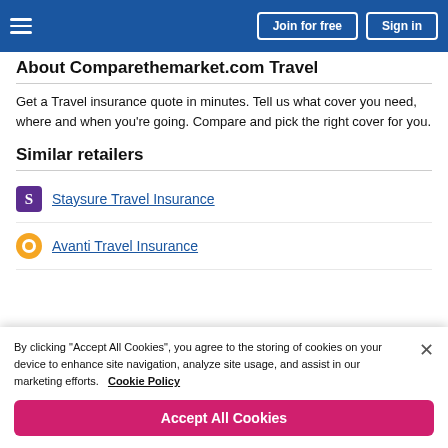About Comparethemarket.com Travel
Get a Travel insurance quote in minutes. Tell us what cover you need, where and when you're going. Compare and pick the right cover for you.
Similar retailers
Staysure Travel Insurance
Avanti Travel Insurance
By clicking "Accept All Cookies", you agree to the storing of cookies on your device to enhance site navigation, analyze site usage, and assist in our marketing efforts.   Cookie Policy
Accept All Cookies